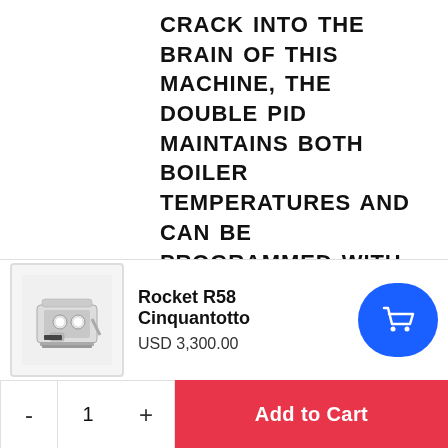CRACK INTO THE BRAIN OF THIS MACHINE, THE DOUBLE PID MAINTAINS BOTH BOILER TEMPERATURES AND CAN BE PROGRAMMED WITH AN ELECTRONIC REMOTE CONTROL BOX ON THE SIDE OF THE MACHINE. · ROTARY PUMP - TO GIVE CREATE IDEAL PRESSURE, THIS QUIET ROTARY PUMP HAS AN EXTERNAL
[Figure (photo): Product thumbnail of Rocket R58 Cinquantotto espresso machine]
Rocket R58 Cinquantotto
USD 3,300.00
[Figure (other): Blue shopping cart button (rounded pill shape with cart icon)]
- 1 + Add to Cart